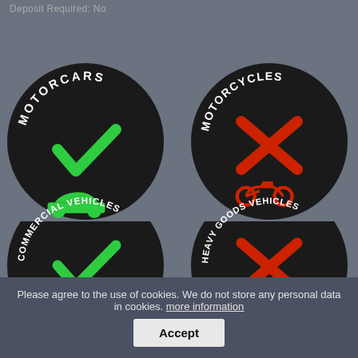Deposit Required: No
[Figure (infographic): Four circular black badges arranged in a 2x2 grid. Top-left: MOTORCARS with green checkmark and green car silhouette. Top-right: MOTORCYCLES with red X and red motorcycle silhouette. Bottom-left: COMMERCIAL VEHICLES with green checkmark and green van silhouette (partially visible). Bottom-right: HEAVY GOODS VEHICLES with red X and red truck silhouette (partially visible).]
Please agree to the use of cookies. We do not store any personal data in cookies. more information
Accept